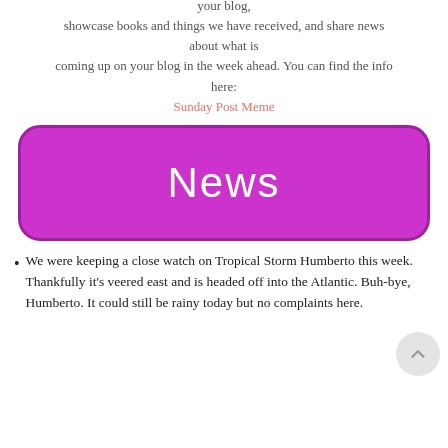your blog, showcase books and things we have received, and share news about what is coming up on your blog in the week ahead. You can find the info here:
Sunday Post Meme
[Figure (other): Magenta/pink rounded rectangle banner with white text reading 'News']
We were keeping a close watch on Tropical Storm Humberto this week. Thankfully it's veered east and is headed off into the Atlantic. Buh-bye, Humberto. It could still be rainy today but no complaints here.